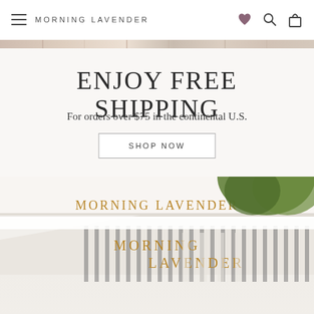MORNING LAVENDER
[Figure (photo): Colored banner/image strip at top]
ENJOY FREE SHIPPING
For orders over $75 in the continental U.S.
SHOP NOW
[Figure (photo): Morning Lavender store exterior with awning sign and tree visible]